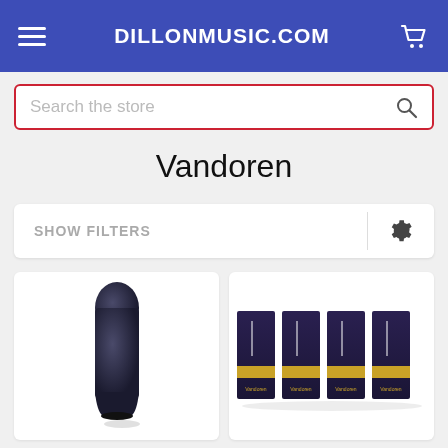DILLONMUSIC.COM
Search the store
Vandoren
SHOW FILTERS
[Figure (photo): A single dark blue/black clarinet or saxophone mouthpiece standing upright on a white background]
[Figure (photo): Four Vandoren reed boxes with gold and black packaging, arranged in a row on a white background]